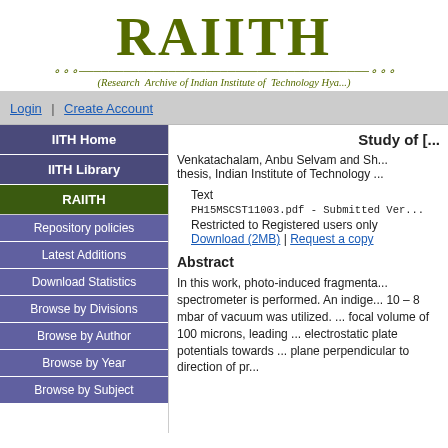[Figure (logo): RAIITH logo with decorative elements and subtitle: Research Archive of Indian Institute of Technology Hyderabad]
Login | Create Account
IITH Home
IITH Library
RAIITH
Repository policies
Latest Additions
Download Statistics
Browse by Divisions
Browse by Author
Browse by Year
Browse by Subject
Study of [...]
Venkatachalam, Anbu Selvam and Sh... thesis, Indian Institute of Technology ...
Text
PH15MSCST11003.pdf - Submitted Ver...
Restricted to Registered users only
Download (2MB) | Request a copy
Abstract
In this work, photo-induced fragmenta... spectrometer is performed. An indige... 10 – 8 mbar of vacuum was utilized. ... focal volume of 100 microns, leading ... electrostatic plate potentials towards ... plane perpendicular to direction of pr...